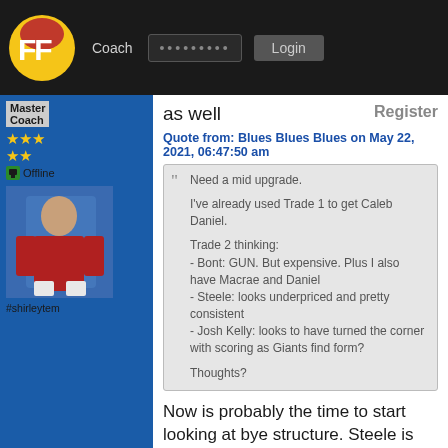FF Coach ......... Login
Master Coach
Offline
as well
Register
Quote from: Blues Blues Blues on May 22, 2021, 06:47:50 am
Need a mid upgrade.

I've already used Trade 1 to get Caleb Daniel.

Trade 2 thinking:
- Bont: GUN. But expensive. Plus I also have Macrae and Daniel
- Steele: looks underpriced and pretty consistent
- Josh Kelly: looks to have turned the corner with scoring as Giants find form?

Thoughts?
Now is probably the time to start looking at bye structure. Steele is